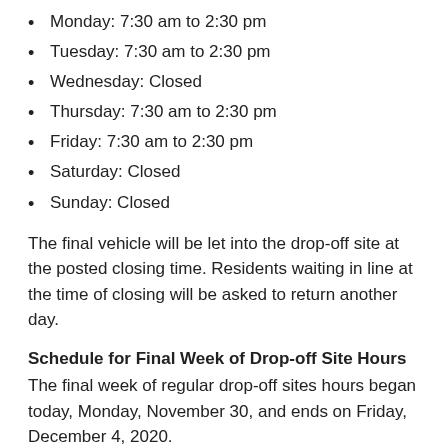Monday: 7:30 am to 2:30 pm
Tuesday: 7:30 am to 2:30 pm
Wednesday: Closed
Thursday: 7:30 am to 2:30 pm
Friday: 7:30 am to 2:30 pm
Saturday: Closed
Sunday: Closed
The final vehicle will be let into the drop-off site at the posted closing time. Residents waiting in line at the time of closing will be asked to return another day.
Schedule for Final Week of Drop-off Site Hours
The final week of regular drop-off sites hours began today, Monday, November 30, and ends on Friday, December 4, 2020.